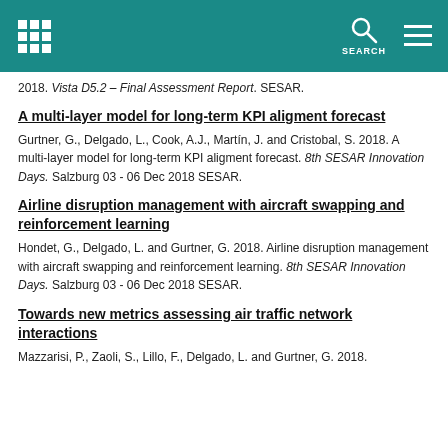SEARCH
2018. Vista D5.2 – Final Assessment Report. SESAR.
A multi-layer model for long-term KPI aligment forecast
Gurtner, G., Delgado, L., Cook, A.J., Martín, J. and Cristobal, S. 2018. A multi-layer model for long-term KPI aligment forecast. 8th SESAR Innovation Days. Salzburg 03 - 06 Dec 2018 SESAR.
Airline disruption management with aircraft swapping and reinforcement learning
Hondet, G., Delgado, L. and Gurtner, G. 2018. Airline disruption management with aircraft swapping and reinforcement learning. 8th SESAR Innovation Days. Salzburg 03 - 06 Dec 2018 SESAR.
Towards new metrics assessing air traffic network interactions
Mazzarisi, P., Zaoli, S., Lillo, F., Delgado, L. and Gurtner, G. 2018.